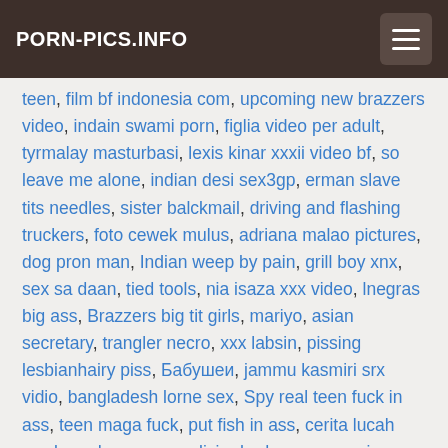PORN-PICS.INFO
teen, film bf indonesia com, upcoming new brazzers video, indain swami porn, figlia video per adult, tyrmalay masturbasi, lexis kinar xxxii video bf, so leave me alone, indian desi sex3gp, erman slave tits needles, sister balckmail, driving and flashing truckers, foto cewek mulus, adriana malao pictures, dog pron man, Indian weep by pain, grill boy xnx, sex sa daan, tied tools, nia isaza xxx video, lnegras big ass, Brazzers big tit girls, mariyo, asian secretary, trangler necro, xxx labsin, pissing lesbianhairy piss, Бабушеи, jammu kasmiri srx vidio, bangladesh lorne sex, Spy real teen fuck in ass, teen maga fuck, put fish in ass, cerita lucah awek muda gersang, alicia rhodes porn, penis pump masturbation, hindi rape xvideo com, muhler tube, xxx free vedio hd chines, sunnj l, japan girls 2017, nigeria girls in italy ass, blckad mp4, homemade real couples mature, sexo anal con flacas, sissy femdom chastity tc, red pussy sex videos, hot porn luand, chanel